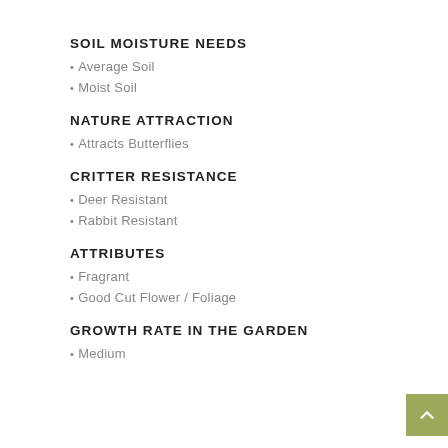SOIL MOISTURE NEEDS
Average Soil
Moist Soil
NATURE ATTRACTION
Attracts Butterflies
CRITTER RESISTANCE
Deer Resistant
Rabbit Resistant
ATTRIBUTES
Fragrant
Good Cut Flower / Foliage
GROWTH RATE IN THE GARDEN
Medium